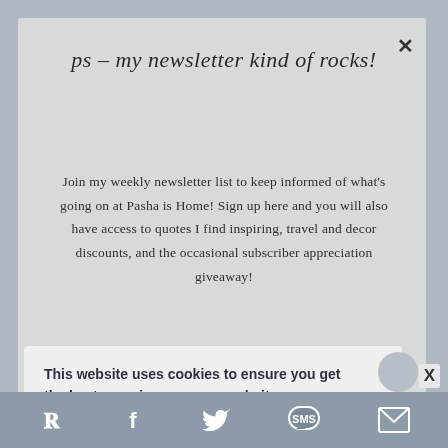[Figure (screenshot): Modal popup overlay with handwritten-style title and newsletter signup text on a light gray background]
ps - my newsletter kind of rocks!
Join my weekly newsletter list to keep informed of what's going on at Pasha is Home! Sign up here and you will also have access to quotes I find inspiring, travel and decor discounts, and the occasional subscriber appreciation giveaway!
This website uses cookies to ensure you get the best experience on our website. Learn more
Got it!
Pinterest  Facebook  Twitter  SMS  Email